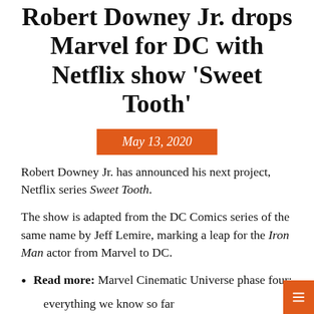Robert Downey Jr. drops Marvel for DC with Netflix show 'Sweet Tooth'
May 13, 2020
Robert Downey Jr. has announced his next project, Netflix series Sweet Tooth.
The show is adapted from the DC Comics series of the same name by Jeff Lemire, marking a leap for the Iron Man actor from Marvel to DC.
Read more: Marvel Cinematic Universe phase four: everything we know so far
Downey Jr. shared the news on Twitter, confirming he and his producing partner and wife Susan Downey wo...